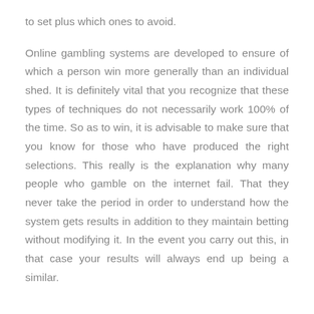to set plus which ones to avoid.
Online gambling systems are developed to ensure of which a person win more generally than an individual shed. It is definitely vital that you recognize that these types of techniques do not necessarily work 100% of the time. So as to win, it is advisable to make sure that you know for those who have produced the right selections. This really is the explanation why many people who gamble on the internet fail. That they never take the period in order to understand how the system gets results in addition to they maintain betting without modifying it. In the event you carry out this, in that case your results will always end up being a similar.